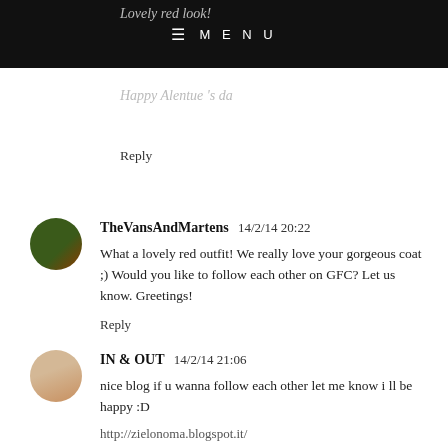≡ MENU
Lovely red look!
Happy Alentue 's da
Reply
TheVansAndMartens  14/2/14 20:22
What a lovely red outfit! We really love your gorgeous coat ;) Would you like to follow each other on GFC? Let us know. Greetings!
Reply
IN & OUT  14/2/14 21:06
nice blog if u wanna follow each other let me know i ll be happy :D

http://zielonoma.blogspot.it/
Reply